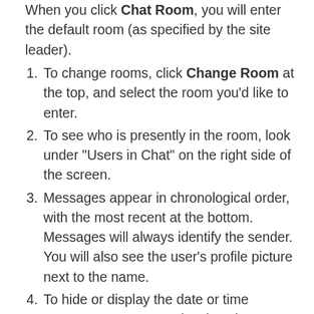When you click Chat Room, you will enter the default room (as specified by the site leader).
To change rooms, click Change Room at the top, and select the room you'd like to enter.
To see who is presently in the room, look under "Users in Chat" on the right side of the screen.
Messages appear in chronological order, with the most recent at the bottom. Messages will always identify the sender. You will also see the user's profile picture next to the name.
To hide or display the date or time messages were posted, select the appropriate option from the "View" drop-down list: Time Only, Date and Time, Date Only, Neither Date nor Time, or ID Only.
To change how many messages you see, from the second drop-down list, select one of the following options: Last 100 messages, Last 10 messages,